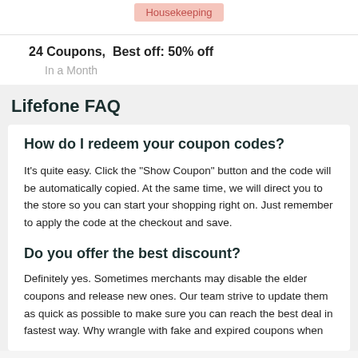Housekeeping
24 Coupons,  Best off: 50% off
In a Month
Lifefone FAQ
How do I redeem your coupon codes?
It's quite easy. Click the "Show Coupon" button and the code will be automatically copied. At the same time, we will direct you to the store so you can start your shopping right on. Just remember to apply the code at the checkout and save.
Do you offer the best discount?
Definitely yes. Sometimes merchants may disable the elder coupons and release new ones. Our team strive to update them as quick as possible to make sure you can reach the best deal in fastest way. Why wrangle with fake and expired coupons when